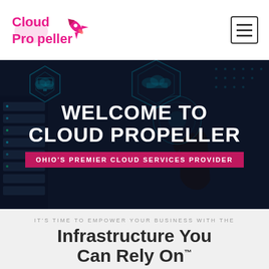[Figure (logo): Cloud Propeller logo in pink/magenta with rocket icon]
[Figure (other): Hamburger menu icon button with three horizontal lines]
[Figure (photo): Dark blue background hero image showing server racks and a hand touching a digital interface with hexagonal cloud graphics, teal/cyan accents]
WELCOME TO CLOUD PROPELLER
OHIO'S PREMIER CLOUD SERVICES PROVIDER
IT'S TIME TO EMPOWER YOUR BUSINESS WITH THE
Infrastructure You Can Rely On™